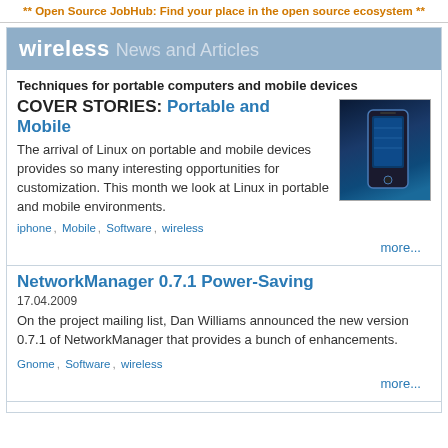** Open Source JobHub: Find your place in the open source ecosystem **
wireless News and Articles
Techniques for portable computers and mobile devices
COVER STORIES: Portable and Mobile
[Figure (photo): Photo of a mobile phone/smartphone against a dark blue background]
The arrival of Linux on portable and mobile devices provides so many interesting opportunities for customization. This month we look at Linux in portable and mobile environments.
iphone , Mobile , Software , wireless
more...
NetworkManager 0.7.1 Power-Saving
17.04.2009
On the project mailing list, Dan Williams announced the new version 0.7.1 of NetworkManager that provides a bunch of enhancements.
Gnome , Software , wireless
more...